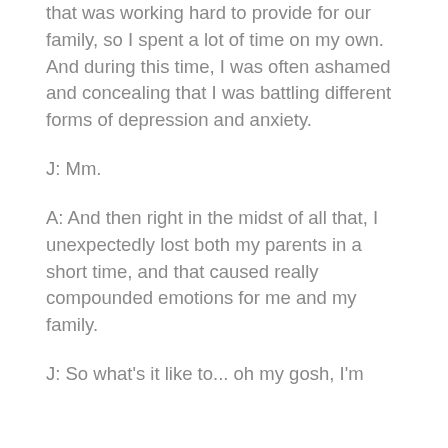that was working hard to provide for our family, so I spent a lot of time on my own. And during this time, I was often ashamed and concealing that I was battling different forms of depression and anxiety.
J: Mm.
A: And then right in the midst of all that, I unexpectedly lost both my parents in a short time, and that caused really compounded emotions for me and my family.
J: So what's it like to... oh my gosh, I'm